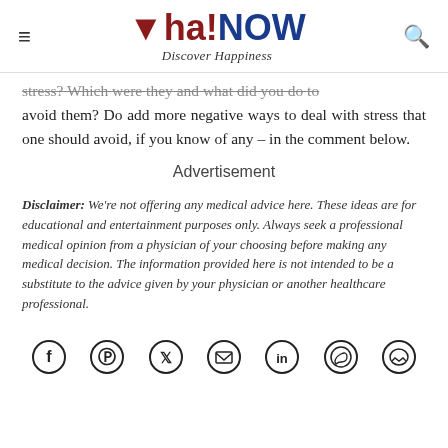Aha!NOW — Discover Happiness
stress? Which were they and what did you do to avoid them? Do add more negative ways to deal with stress that one should avoid, if you know of any – in the comment below.
Advertisement
Disclaimer: We're not offering any medical advice here. These ideas are for educational and entertainment purposes only. Always seek a professional medical opinion from a physician of your choosing before making any medical decision. The information provided here is not intended to be a substitute to the advice given by your physician or another healthcare professional.
[Figure (other): Social media share icons: Facebook, Pinterest, Twitter, Email, LinkedIn, WhatsApp, Messenger]